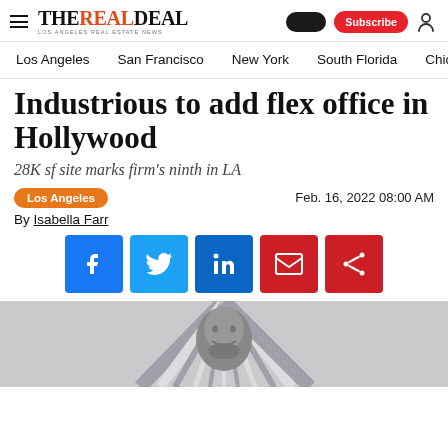THE REAL DEAL — LOS ANGELES REAL ESTATE NEWS
Los Angeles | San Francisco | New York | South Florida | Chic
Industrious to add flex office in Hollywood
28K sf site marks firm's ninth in LA
Los Angeles   Feb. 16, 2022 08:00 AM
By Isabella Farr
[Figure (photo): Headshot of a man with beard, in front of a geometric triangular graphic with horizontal lines, black and white style.]